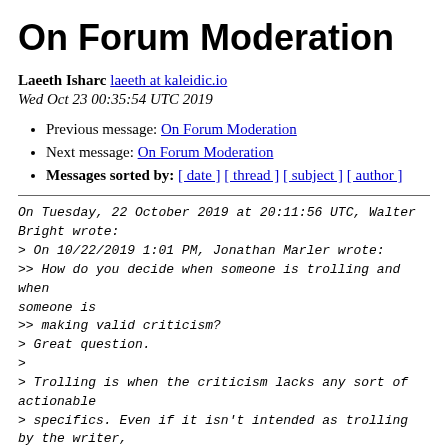On Forum Moderation
Laeeth Isharc laeeth at kaleidic.io
Wed Oct 23 00:35:54 UTC 2019
Previous message: On Forum Moderation
Next message: On Forum Moderation
Messages sorted by: [ date ] [ thread ] [ subject ] [ author ]
On Tuesday, 22 October 2019 at 20:11:56 UTC, Walter Bright wrote:
> On 10/22/2019 1:01 PM, Jonathan Marler wrote:
>> How do you decide when someone is trolling and when someone is
>> making valid criticism?
> Great question.
>
> Trolling is when the criticism lacks any sort of actionable
> specifics. Even if it isn't intended as trolling by the writer,
> it has that effect. For example:
>
>  Trolling: D is no good.
>
> Not Trolling: Bugzilla NNNN is blocking me. Bec...